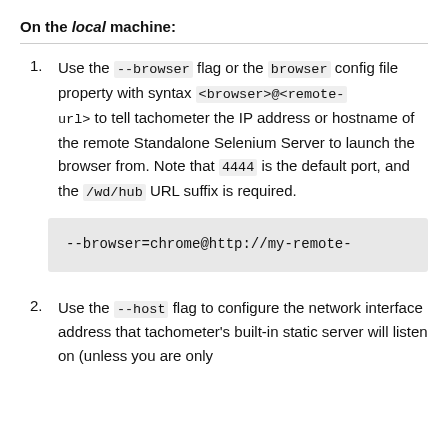On the local machine:
Use the --browser flag or the browser config file property with syntax <browser>@<remote-url> to tell tachometer the IP address or hostname of the remote Standalone Selenium Server to launch the browser from. Note that 4444 is the default port, and the /wd/hub URL suffix is required.
--browser=chrome@http://my-remote-
Use the --host flag to configure the network interface address that tachometer's built-in static server will listen on (unless you are only